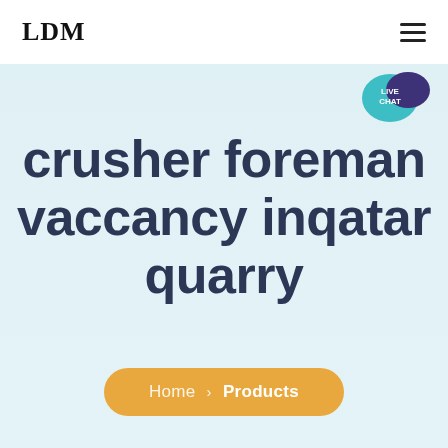LDM
[Figure (illustration): Live chat speech bubble icon with teal background circle showing 'LIVE CHAT' text and dark purple overlapping chat bubble]
crusher foreman vaccancy inqatar quarry
Home › Products